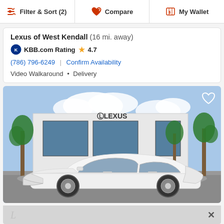Filter & Sort (2) | Compare | My Wallet
Lexus of West Kendall (16 mi. away)
KBB.com Rating ★ 4.7
(786) 796-6249 | Confirm Availability
Video Walkaround · Delivery
[Figure (photo): White Lexus ES sedan parked in front of a Lexus dealership building with palm trees in the background.]
[Figure (photo): Partially visible advertisement banner at bottom of screen with a close (X) button.]